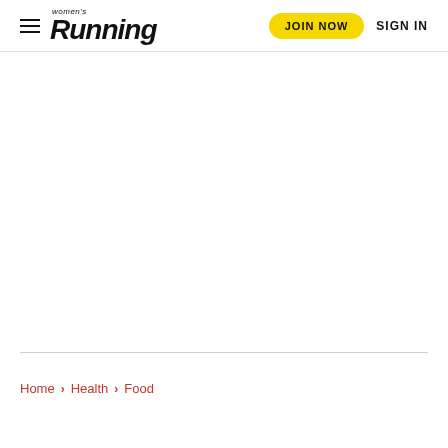women's Running | JOIN NOW | SIGN IN
[Figure (other): Advertisement/blank space area below navigation header]
Home > Health > Food